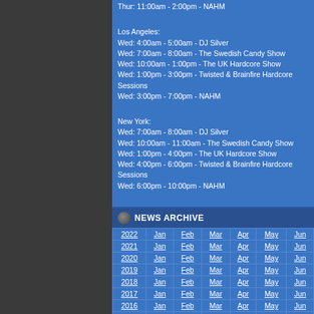Thur: 11:00am - 2:00pm - NAHM

Los Angeles:
Wed: 4:00am - 5:00am - DJ Silver
Wed: 7:00am - 8:00am - The Swedish Candy Show
Wed: 10:00am - 1:00pm - The UK Hardcore Show
Wed: 1:00pm - 3:00pm - Twisted & Brainfire Hardcore Sessions
Wed: 3:00pm - 7:00pm - NAHM

New York:
Wed: 7:00am - 8:00am - DJ Silver
Wed: 10:00am - 11:00am - The Swedish Candy Show
Wed: 1:00pm - 4:00pm - The UK Hardcore Show
Wed: 4:00pm - 6:00pm - Twisted & Brainfire Hardcore Sessions
Wed: 6:00pm - 10:00pm - NAHM

Tokyo:
Wed: 9:00pm - 10:00pm - DJ Silver
Wed: 12:00am - 1:00am - The Swedish Candy Show
Thur: 3:00am - 6:00am - The UK Hardcore Show
Thur: 6:00am - 8:00am - Twisted & Brainfire Hardcore Sessions
Thur: 8:00am - 12:00pm - NAHM
NEWS ARCHIVE
| Year | Jan | Feb | Mar | Apr | May | Jun |
| --- | --- | --- | --- | --- | --- | --- |
| 2022 | Jan | Feb | Mar | Apr | May | Jun |
| 2021 | Jan | Feb | Mar | Apr | May | Jun |
| 2020 | Jan | Feb | Mar | Apr | May | Jun |
| 2019 | Jan | Feb | Mar | Apr | May | Jun |
| 2018 | Jan | Feb | Mar | Apr | May | Jun |
| 2017 | Jan | Feb | Mar | Apr | May | Jun |
| 2016 | Jan | Feb | Mar | Apr | May | Jun |
| 2015 | Jan | Feb | Mar | Apr | May | Jun |
| 2014 | Jan | Feb | Mar | Apr | May | Jun |
| 2013 | Jan | Feb | Mar | Apr | May | Jun |
| 2012 | Jan | Feb | Mar | Apr | May | Jun |
| 2011 | Jan | Feb | Mar | Apr | May | Jun |
| 2010 | Jan | Feb | Mar | Apr | May | Jun |